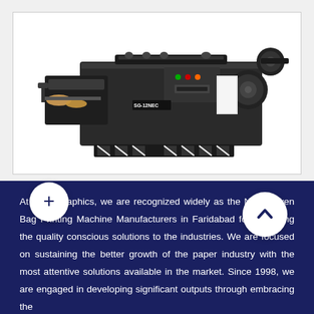[Figure (photo): Photo of a Non Woven Bag Printing Machine (model SG-12NEC or similar), a large industrial offset printing machine in dark grey/black color, shown on a white background inside a light-bordered frame.]
At Click Graphics, we are recognized widely as the Non Woven Bag Printing Machine Manufacturers in Faridabad for delivering the quality conscious solutions to the industries. We are focused on sustaining the better growth of the paper industry with the most attentive solutions available in the market. Since 1998, we are engaged in developing significant outputs through embracing the